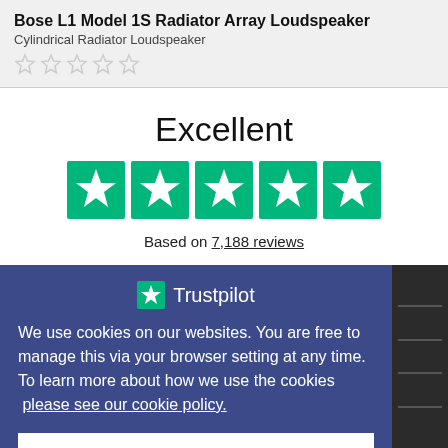Bose L1 Model 1S Radiator Array Loudspeaker
Cylindrical Radiator Loudspeaker
[Figure (other): Five gray outline star rating icons (unrated)]
Excellent
[Figure (other): Five green Trustpilot star rating boxes, all filled green with white stars]
Based on 7,188 reviews
[Figure (logo): Trustpilot logo with green star and white Trustpilot text]
We use cookies on our websites. You are free to manage this via your browser setting at any time. To learn more about how we use the cookies  please see our cookie policy.
Close
+ Mailing list